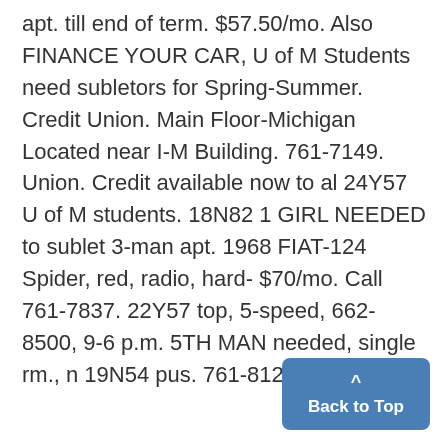apt. till end of term. $57.50/mo. Also FINANCE YOUR CAR, U of M Students need subletors for Spring-Summer. Credit Union. Main Floor-Michigan Located near I-M Building. 761-7149. Union. Credit available now to al 24Y57 U of M students. 18N82 1 GIRL NEEDED to sublet 3-man apt. 1968 FIAT-124 Spider, red, radio, hard- $70/mo. Call 761-7837. 22Y57 top, 5-speed, 662-8500, 9-6 p.m. 5TH MAN needed, single rm., n 19N54 pus. 761-8123. 19Y54 P